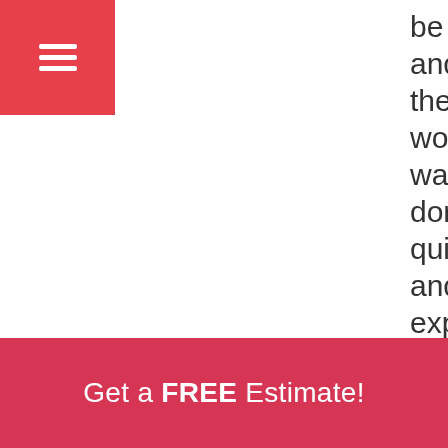[Figure (other): Red square button with three horizontal white lines (hamburger menu icon)]
be
and
the
work
was
done
quickly
and
expertly
just
as I
knew
it
Get a FREE Estimate!